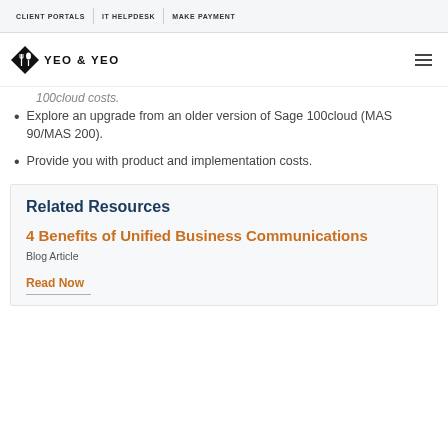CLIENT PORTALS | IT HELPDESK | MAKE PAYMENT
[Figure (logo): Yeo & Yeo logo with diamond shape and fork/spoon icon, text YEO & YEO]
Explore an upgrade from an older version of Sage 100cloud (MAS 90/MAS 200).
Provide you with product and implementation costs.
Related Resources
4 Benefits of Unified Business Communications
Blog Article
Read Now